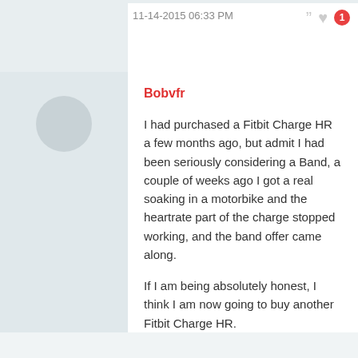11-14-2015 06:33 PM
Bobvfr
I had purchased a Fitbit Charge HR a few months ago, but admit I had been seriously considering a Band, a couple of weeks ago I got a real soaking in a motorbike and the heartrate part of the charge stopped working, and the band offer came along.

If I am being absolutely honest, I think I am now going to buy another Fitbit Charge HR.

Sorry folks but it's much more comfortable, the software is far more user friendly and it's the same on the phone and desktops, just seems a better all round device.

I admit the Fitbit doesn't have the connectivity,